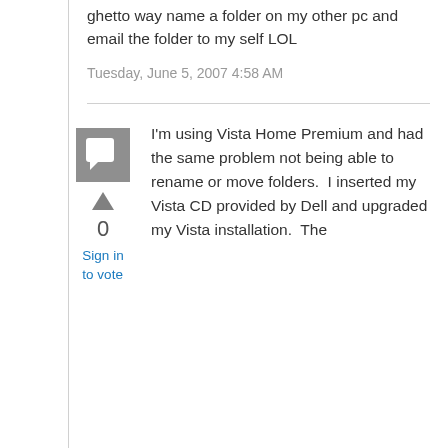ghetto way name a folder on my other pc and email the folder to my self LOL
Tuesday, June 5, 2007 4:58 AM
[Figure (other): Gray avatar icon with speech bubble symbol]
0
Sign in to vote
I'm using Vista Home Premium and had the same problem not being able to rename or move folders.  I inserted my Vista CD provided by Dell and upgraded my Vista installation.  The